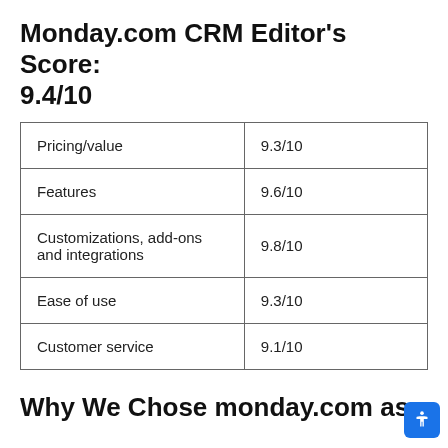Monday.com CRM Editor's Score: 9.4/10
| Pricing/value | 9.3/10 |
| Features | 9.6/10 |
| Customizations, add-ons and integrations | 9.8/10 |
| Ease of use | 9.3/10 |
| Customer service | 9.1/10 |
Why We Chose monday.com as